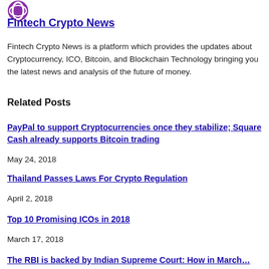[Figure (logo): Fintech Crypto News logo icon (purple circular graphic)]
Fintech Crypto News
Fintech Crypto News is a platform which provides the updates about Cryptocurrency, ICO, Bitcoin, and Blockchain Technology bringing you the latest news and analysis of the future of money.
Related Posts
PayPal to support Cryptocurrencies once they stabilize; Square Cash already supports Bitcoin trading
May 24, 2018
Thailand Passes Laws For Crypto Regulation
April 2, 2018
Top 10 Promising ICOs in 2018
March 17, 2018
The RBI is backed by Indian Supreme Court: How in March…